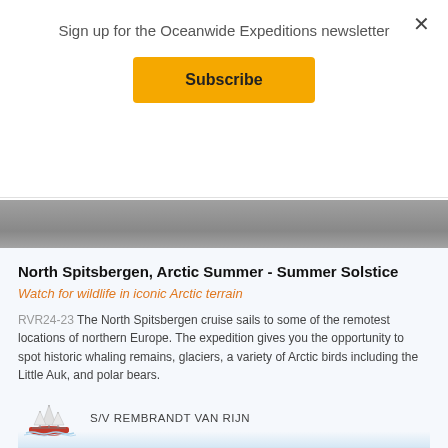Sign up for the Oceanwide Expeditions newsletter
Subscribe
[Figure (photo): Gray Arctic landscape photo band]
North Spitsbergen, Arctic Summer - Summer Solstice
Watch for wildlife in iconic Arctic terrain
RVR24-23 The North Spitsbergen cruise sails to some of the remotest locations of northern Europe. The expedition gives you the opportunity to spot historic whaling remains, glaciers, a variety of Arctic birds including the Little Auk, and polar bears.
[Figure (illustration): Small sailing ship illustration - S/V Rembrandt Van Rijn]
S/V REMBRANDT VAN RIJN
Cruise date:
Price:
18 Jun - 28 Jun, 2023
4700 USD